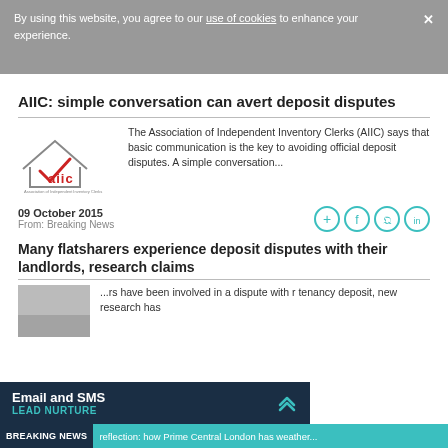By using this website, you agree to our use of cookies to enhance your experience.
AIIC: simple conversation can avert deposit disputes
[Figure (logo): AIIC (Association of Independent Inventory Clerks) logo — house outline with red checkmark, text 'aiic' in red/grey]
The Association of Independent Inventory Clerks (AIIC) says that basic communication is the key to avoiding official deposit disputes.  A simple conversation...
09 October 2015
From: Breaking News
[Figure (infographic): Four teal circular social sharing icons: plus/add, Facebook, Twitter, LinkedIn]
Many flatsharers experience deposit disputes with their landlords, research claims
[Figure (photo): Partial image of article thumbnail, obscured by overlay]
...rs have been involved in a dispute with r tenancy deposit, new research has
Email and SMS
LEAD NURTURE
BREAKING NEWS   reflection: how Prime Central London has weather...